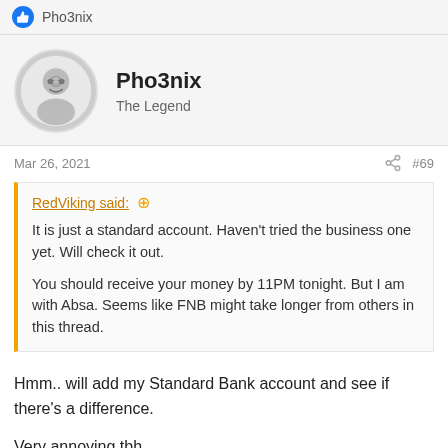Pho3nix
Pho3nix
The Legend
Mar 26, 2021   #69
RedViking said:
It is just a standard account. Haven't tried the business one yet. Will check it out.

You should receive your money by 11PM tonight. But I am with Absa. Seems like FNB might take longer from others in this thread.
Hmm.. will add my Standard Bank account and see if there's a difference.

Very annoying tbh.
RedViking